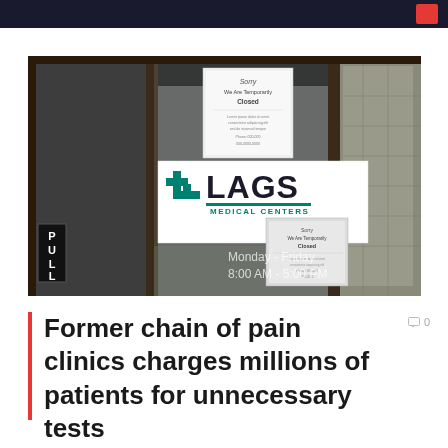[Figure (photo): Exterior photo of LAGS Medical Centers entrance showing glass door with 'Sorry We Are Temporarily Closed' signs posted, the LAGS Medical Centers logo sign visible through the glass, and hours 'Monday - Friday 8:00 AM - 5:00 PM' etched on the glass. A PULL sign is visible on the left side of the door.]
Former chain of pain clinics charges millions of patients for unnecessary tests